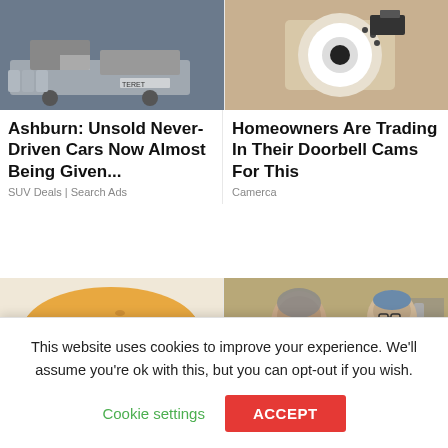[Figure (photo): Photo of a truck/vehicle with equipment, TERET branding visible]
Ashburn: Unsold Never-Driven Cars Now Almost Being Given...
SUV Deals | Search Ads
[Figure (photo): Photo of a security camera mounted on a wall]
Homeowners Are Trading In Their Doorbell Cams For This
Camerca
[Figure (photo): Photo of a hamburger/cheeseburger on white paper]
[Figure (photo): Photo of two men, one in dark clothing and one in medical scrubs]
This website uses cookies to improve your experience. We'll assume you're ok with this, but you can opt-out if you wish.
Cookie settings
ACCEPT